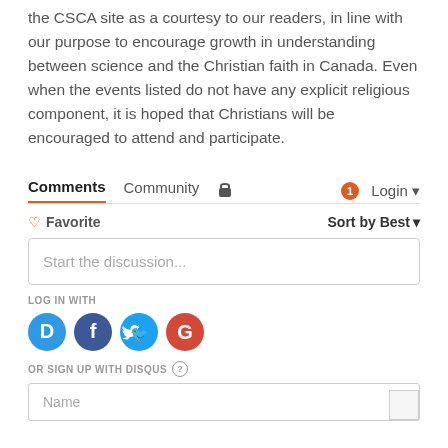the CSCA site as a courtesy to our readers, in line with our purpose to encourage growth in understanding between science and the Christian faith in Canada. Even when the events listed do not have any explicit religious component, it is hoped that Christians will be encouraged to attend and participate.
Comments  Community  🔒  1  Login
♡ Favorite    Sort by Best
Start the discussion...
LOG IN WITH
[Figure (other): Social login icons: Disqus (D), Facebook (f), Twitter bird, Google (G)]
OR SIGN UP WITH DISQUS ?
Name